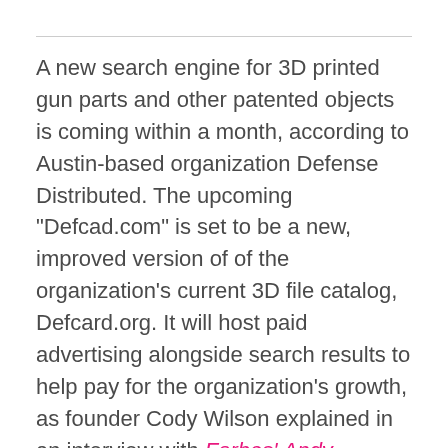A new search engine for 3D printed gun parts and other patented objects is coming within a month, according to Austin-based organization Defense Distributed. The upcoming "Defcad.com" is set to be a new, improved version of of the organization's current 3D file catalog, Defcard.org. It will host paid advertising alongside search results to help pay for the organization's growth, as founder Cody Wilson explained in an interview with Forbes' Andy Greenberg. Wilson, a 24-year-old law student, is also due to reveal more details at the South by Southwest Interactive Festival in Austin, Texas, this afternoon.